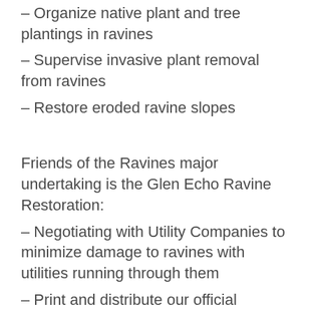- Organize native plant and tree plantings in ravines
- Supervise invasive plant removal from ravines
- Restore eroded ravine slopes
Friends of the Ravines major undertaking is the Glen Echo Ravine Restoration:
- Negotiating with Utility Companies to minimize damage to ravines with utilities running through them
- Print and distribute our official publication, Ravinia, twice a year
- Lobby city council and public officials to